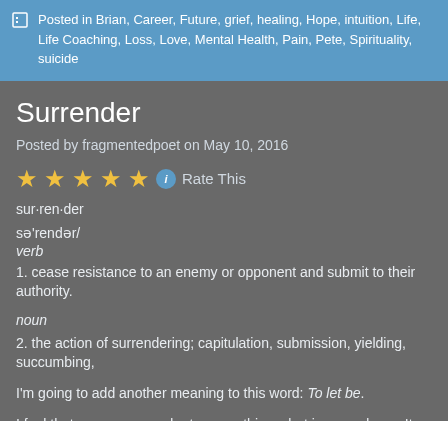Posted in Brian, Career, Future, grief, healing, Hope, intuition, Life, Life Coaching, Loss, Love, Mental Health, Pain, Pete, Spirituality, suicide
Surrender
Posted by fragmentedpoet on May 10, 2016
★★★★★ ℹ Rate This
sur·ren·der
sə'rendər/
verb
1. cease resistance to an enemy or opponent and submit to their authority.
noun
2. the action of surrendering; capitulation, submission, yielding, succumbing,
I'm going to add another meaning to this word: To let be.
I feel that we can surrender to many things, but in a good way. It needn't invo submission, defeat, resignation or giving up. In fact, quite the opposite can be